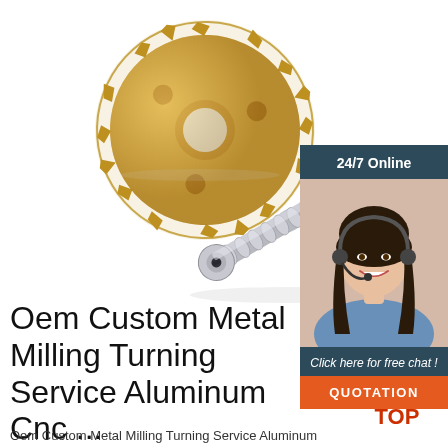[Figure (photo): Gold/brass spur gear and silver/chrome worm gear screw component on white background — CNC machined metal parts]
[Figure (infographic): Customer service chat widget: dark teal background with '24/7 Online' text, photo of smiling woman with headset, 'Click here for free chat!' text, and orange 'QUOTATION' button]
Oem Custom Metal Milling Turning Service Aluminum Cnc ...
[Figure (logo): Red and orange 'TOP' badge with arc arrows above the T]
Oem Custom Metal Milling Turning Service Aluminum